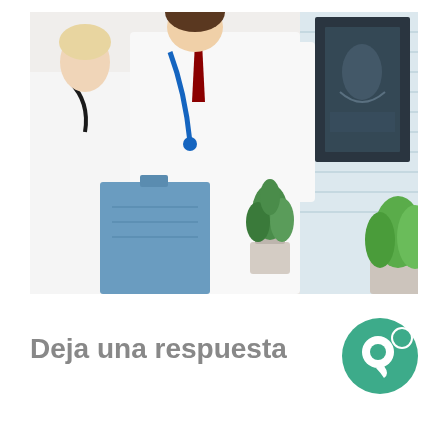[Figure (photo): Two medical professionals in white lab coats reviewing an X-ray image. One holds a clipboard/folder in blue, the other holds up an X-ray film. Green plants visible in the background near a window with blinds.]
Deja una respuesta
[Figure (logo): Green circular chat/comment icon logo]